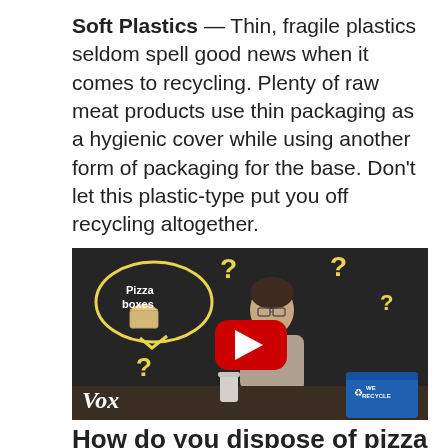Soft Plastics — Thin, fragile plastics seldom spell good news when it comes to recycling. Plenty of raw meat products use thin packaging as a hygienic cover while using another form of packaging for the base. Don't let this plastic-type put you off recycling altogether.
[Figure (screenshot): Screenshot of a Vox YouTube video thumbnail showing a man with glasses sitting at a desk with a blue recycling bin, with yellow question marks and a speech bubble saying 'Pizza boxes' drawn on the dark background, and a red YouTube play button overlay.]
How do you dispose of pizza